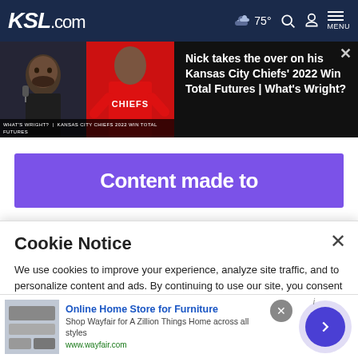KSL.com  75°  MENU
[Figure (screenshot): Video thumbnail composite: left panel shows a man speaking into a microphone, right panel shows a Kansas City Chiefs player in red uniform running. Overlay text: WHAT'S WRIGHT | KANSAS CITY CHIEFS 2022 WIN TOTAL FUTURES]
Nick takes the over on his Kansas City Chiefs' 2022 Win Total Futures | What's Wright?
[Figure (other): Purple advertisement banner with white bold text: Content made to]
Cookie Notice
We use cookies to improve your experience, analyze site traffic, and to personalize content and ads. By continuing to use our site, you consent to our use of cookies. Please visit our Terms of Use and Privacy Policy for more information
[Figure (other): Bottom advertisement: Online Home Store for Furniture - Shop Wayfair for A Zillion Things Home across all styles - www.wayfair.com]